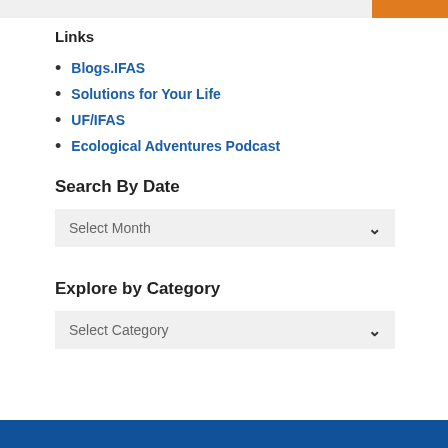Links
Blogs.IFAS
Solutions for Your Life
UF/IFAS
Ecological Adventures Podcast
Search By Date
Select Month
Explore by Category
Select Category